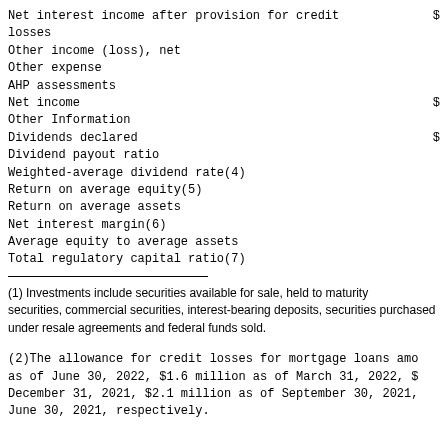|  | $ |
| --- | --- |
| Net interest income after provision for credit losses | $ |
| Other income (loss), net |  |
| Other expense |  |
| AHP assessments |  |
| Net income | $ |
| Other Information |  |
| Dividends declared | $ |
| Dividend payout ratio |  |
| Weighted-average dividend rate(4) |  |
| Return on average equity(5) |  |
| Return on average assets |  |
| Net interest margin(6) |  |
| Average equity to average assets |  |
| Total regulatory capital ratio(7) |  |
(1) Investments include securities available for sale, held to maturity securities, commercial securities, interest-bearing deposits, securities purchased under resale agreements and federal funds sold.
(2) The allowance for credit losses for mortgage loans amo as of June 30, 2022, $1.6 million as of March 31, 2022, $ December 31, 2021, $2.1 million as of September 30, 2021, June 30, 2021, respectively.